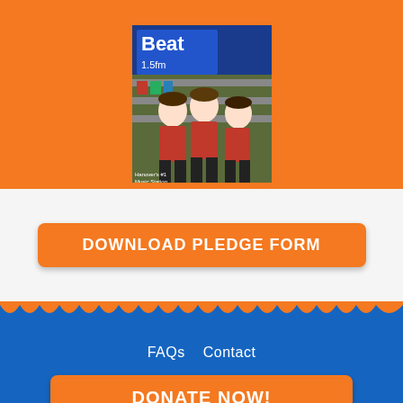[Figure (photo): Photo of girls in red sports uniforms standing together, with a store/radio station backdrop]
DOWNLOAD PLEDGE FORM
FAQs   Contact
DONATE NOW!
Website donated by [GI logo]